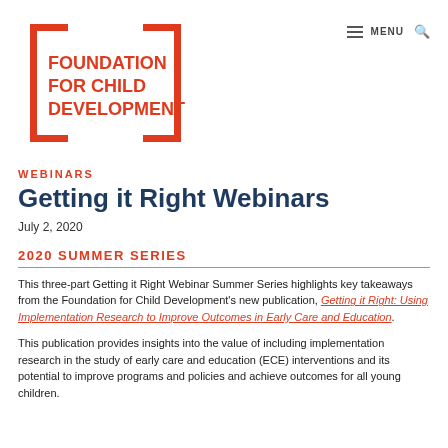[Figure (logo): Foundation for Child Development logo — red bracket design with bold red text]
MENU (navigation icon and search icon)
WEBINARS
Getting it Right Webinars
July 2, 2020
2020 SUMMER SERIES
This three-part Getting it Right Webinar Summer Series highlights key takeaways from the Foundation for Child Development's new publication, Getting it Right: Using Implementation Research to Improve Outcomes in Early Care and Education.
This publication provides insights into the value of including implementation research in the study of early care and education (ECE) interventions and its potential to improve programs and policies and achieve outcomes for all young children.